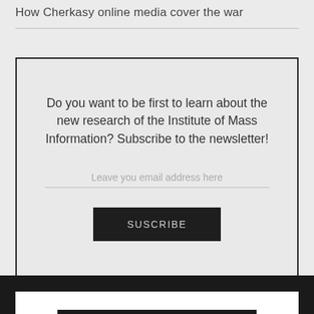How Cherkasy online media cover the war
Do you want to be first to learn about the new research of the Institute of Mass Information? Subscribe to the newsletter!
Leave you email address here
SUSCRIBE